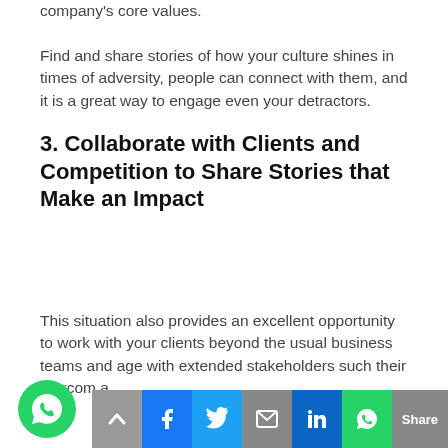company's core values. Find and share stories of how your culture shines in times of adversity, people can connect with them, and it is a great way to engage even your detractors.
3. Collaborate with Clients and Competition to Share Stories that Make an Impact
This situation also provides an excellent opportunity to work with your clients beyond the usual business teams and age with extended stakeholders such their Marcom a...